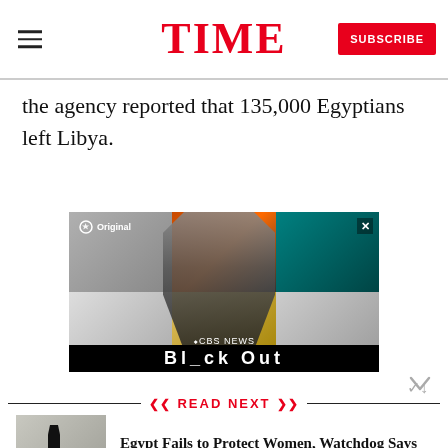TIME
the agency reported that 135,000 Egyptians left Libya.
[Figure (photo): CBS News Paramount+ advertisement with a man in a suit against a collage of news-related images]
READ NEXT
[Figure (photo): Thumbnail photo of a person in dark clothing in what appears to be a library or bookstore]
Egypt Fails to Protect Women, Watchdog Says